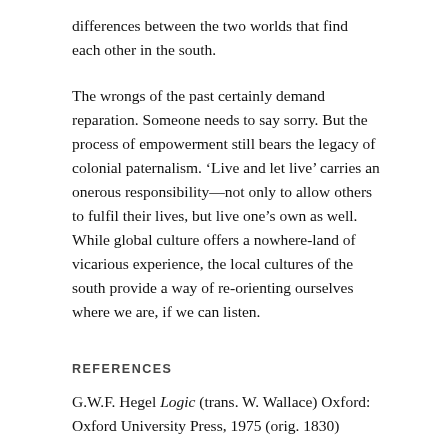differences between the two worlds that find each other in the south.
The wrongs of the past certainly demand reparation. Someone needs to say sorry. But the process of empowerment still bears the legacy of colonial paternalism. 'Live and let live' carries an onerous responsibility—not only to allow others to fulfil their lives, but live one's own as well. While global culture offers a nowhere-land of vicarious experience, the local cultures of the south provide a way of re-orienting ourselves where we are, if we can listen.
REFERENCES
G.W.F. Hegel Logic (trans. W. Wallace) Oxford: Oxford University Press, 1975 (orig. 1830)